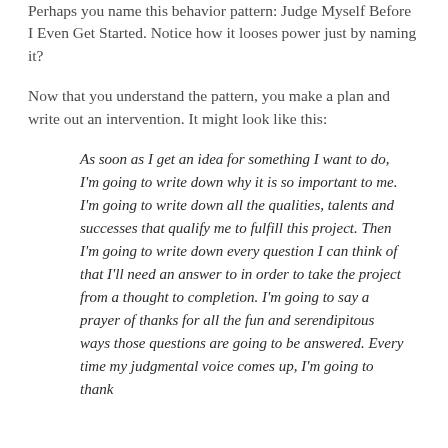Perhaps you name this behavior pattern: Judge Myself Before I Even Get Started. Notice how it looses power just by naming it?
Now that you understand the pattern, you make a plan and write out an intervention. It might look like this:
As soon as I get an idea for something I want to do, I'm going to write down why it is so important to me. I'm going to write down all the qualities, talents and successes that qualify me to fulfill this project. Then I'm going to write down every question I can think of that I'll need an answer to in order to take the project from a thought to completion. I'm going to say a prayer of thanks for all the fun and serendipitous ways those questions are going to be answered. Every time my judgmental voice comes up, I'm going to thank